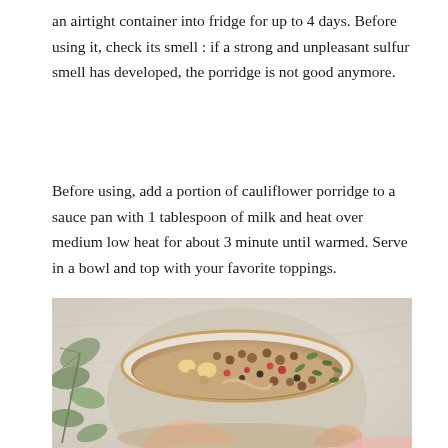an airtight container into fridge for up to 4 days. Before using it, check its smell : if a strong and unpleasant sulfur smell has developed, the porridge is not good anymore.
Before using, add a portion of cauliflower porridge to a sauce pan with 1 tablespoon of milk and heat over medium low heat for about 3 minute until warmed. Serve in a bowl and top with your favorite toppings.
[Figure (photo): Overhead photo of a ceramic bowl filled with cauliflower porridge topped with nuts, seeds, banana slices, dried fruits, and other toppings. A hand holds the bowl. Green leaves visible on the left side. Pink cloth/napkin at the bottom right.]